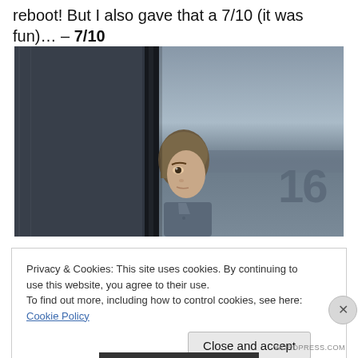reboot! But I also gave that a 7/10 (it was fun)… – 7/10
[Figure (photo): A person peering around a dark doorway or corner in a dimly lit corridor; the number '16' is visible on the wall to the right.]
Privacy & Cookies: This site uses cookies. By continuing to use this website, you agree to their use.
To find out more, including how to control cookies, see here: Cookie Policy
Close and accept